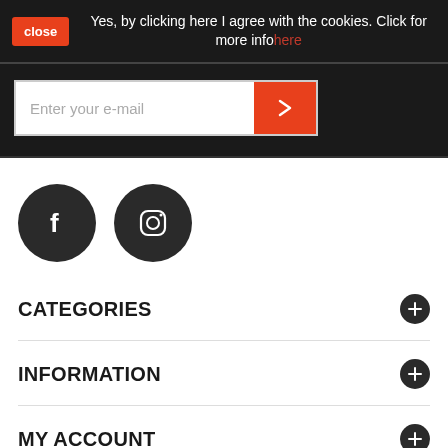close  Yes, by clicking here I agree with the cookies. Click for more info here
Enter your e-mail
[Figure (other): Facebook and Instagram social media icons as dark circles with white logos]
CATEGORIES
INFORMATION
MY ACCOUNT
STORE INFORMATION